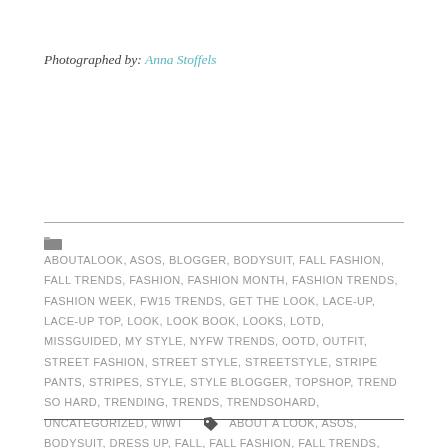Photographed by: Anna Stoffels
ABOUTALOOK, ASOS, BLOGGER, BODYSUIT, FALL FASHION, FALL TRENDS, FASHION, FASHION MONTH, FASHION TRENDS, FASHION WEEK, FW15 TRENDS, GET THE LOOK, LACE-UP, LACE-UP TOP, LOOK, LOOK BOOK, LOOKS, LOTD, MISSGUIDED, MY STYLE, NYFW TRENDS, OOTD, OUTFIT, STREET FASHION, STREET STYLE, STREETSTYLE, STRIPE PANTS, STRIPES, STYLE, STYLE BLOGGER, TOPSHOP, TREND SO HARD, TRENDING, TRENDS, TRENDSOHARD, UNCATEGORIZED, WIWT | ABOUT A LOOK, ASOS, BODYSUIT, DRESS UP, FALL, FALL FASHION, FALL TRENDS, FASHION, FASHION BLOGGER, FASHION MONTH, FASHION TRENDS, LACE UP TOP, LOOK, LOOK BOOK, MISSGUIDED, MY STYLE, OOTD, OUTFIT, STREET FASHION, STREET STYLE, STREET STYLE LUXE, STRIPED PANTS, STRIPES, STYLE, STYLE BLOGGER, TOPSHOP, TREND SO HARD, TRENDS, WHAT I WORE